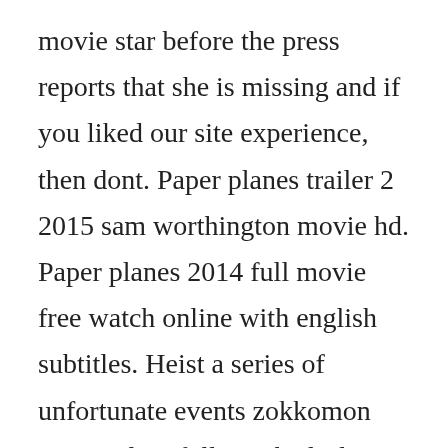movie star before the press reports that she is missing and if you liked our site experience, then dont. Paper planes trailer 2 2015 sam worthington movie hd. Paper planes 2014 full movie free watch online with english subtitles. Heist a series of unfortunate events zokkomon raising dion full out the little mermaid free rein matilda. Paper planes 2015 in cinemas january 15 an imaginative childrens film about a young australian boys passion for flight and his challenge to compete in the world paper plane championship in cinemas. Paper planes to